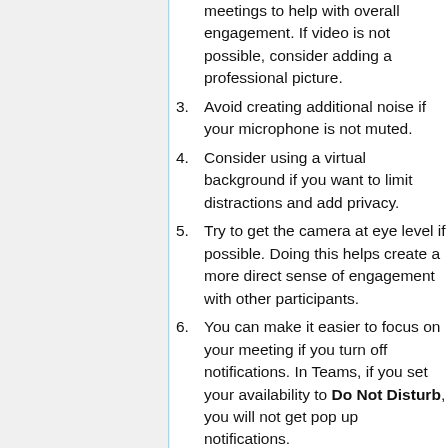(continuation) meetings to help with overall engagement. If video is not possible, consider adding a professional picture.
3. Avoid creating additional noise if your microphone is not muted.
4. Consider using a virtual background if you want to limit distractions and add privacy.
5. Try to get the camera at eye level if possible. Doing this helps create a more direct sense of engagement with other participants.
6. You can make it easier to focus on your meeting if you turn off notifications. In Teams, if you set your availability to Do Not Disturb, you will not get pop up notifications.